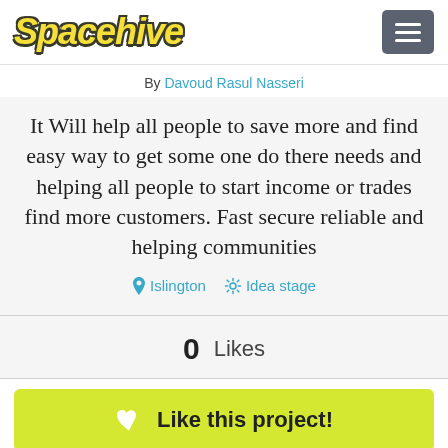Spacehive
By Davoud Rasul Nasseri
It Will help all people to save more and find easy way to get some one do there needs and helping all people to start income or trades find more customers. Fast secure reliable and helping communities
Islington  Idea stage
0  Likes
Like this project!